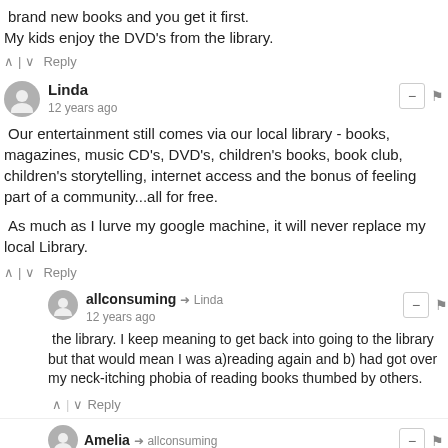brand new books and you get it first.
My kids enjoy the DVD's from the library.
^ | v  Reply
Linda  12 years ago
Our entertainment still comes via our local library - books, magazines, music CD's, DVD's, children's books, book club, children's storytelling, internet access and the bonus of feeling part of a community...all for free.
As much as I lurve my google machine, it will never replace my local Library.
^ | v  Reply
allconsuming → Linda  12 years ago
the library. I keep meaning to get back into going to the library but that would mean I was a)reading again and b) had got over my neck-itching phobia of reading books thumbed by others.
^ | v  Reply
Amelia → allconsuming